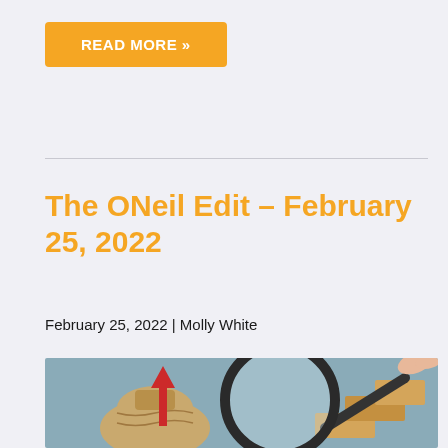READ MORE »
The ONeil Edit – February 25, 2022
February 25, 2022 | Molly White
[Figure (photo): A hand holding a magnifying glass over a red upward arrow rising from a burlap money bag, with wooden blocks in the foreground, against a blurred grey-blue background.]